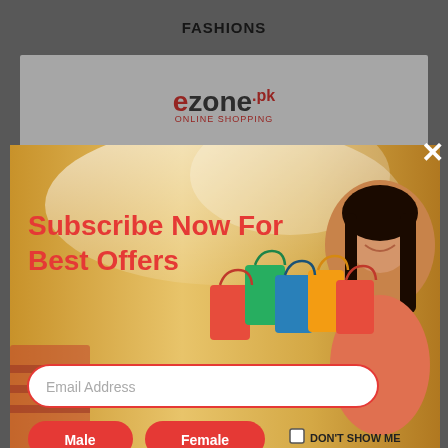FASHIONS
[Figure (logo): ezone.pk online shopping logo in red and dark grey]
[Figure (screenshot): Subscribe Now For Best Offers popup banner with woman holding shopping bags, email address field, Male and Female buttons, and DON'T SHOW ME checkbox with close X button]
Buy Imported Silk Marina Shirt with Tights (Stitched) - GD-P-0056
Rs.1,799.00
GreenDot
[Figure (illustration): Shopping cart icon (white) on dark red button]